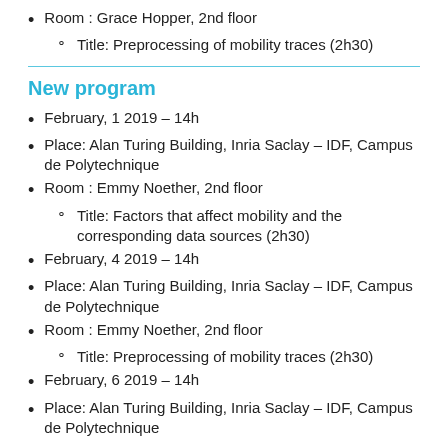Room : Grace Hopper, 2nd floor
Title: Preprocessing of mobility traces (2h30)
New program
February, 1 2019 – 14h
Place: Alan Turing Building, Inria Saclay – IDF, Campus de Polytechnique
Room : Emmy Noether, 2nd floor
Title: Factors that affect mobility and the corresponding data sources (2h30)
February, 4 2019 – 14h
Place: Alan Turing Building, Inria Saclay – IDF, Campus de Polytechnique
Room : Emmy Noether, 2nd floor
Title: Preprocessing of mobility traces (2h30)
February, 6 2019 – 14h
Place: Alan Turing Building, Inria Saclay – IDF, Campus de Polytechnique